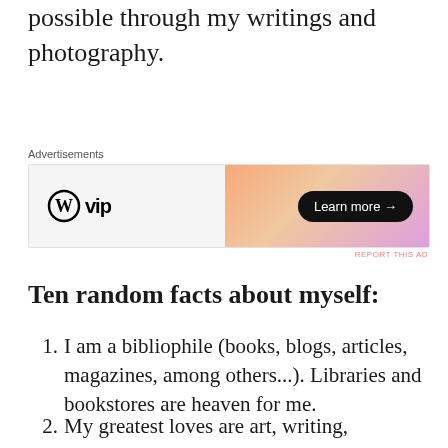possible through my writings and photography.
[Figure (other): WordPress VIP advertisement banner with 'Learn more →' button on gradient orange/pink background]
Ten random facts about myself:
1. I am a bibliophile (books, blogs, articles, magazines, among others...). Libraries and bookstores are heaven for me.
2. My greatest loves are art, writing, translation, literature, photography,